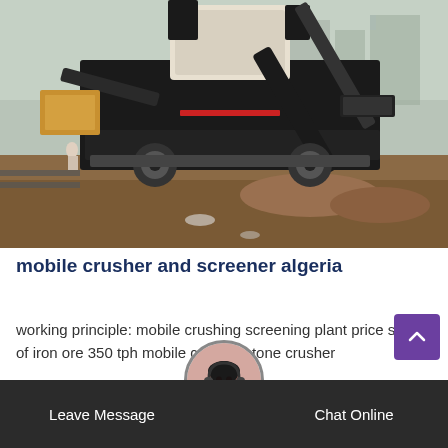[Figure (photo): Mobile crusher and screener machine on a construction/mining site. Large industrial equipment on a flatbed trailer with conveyor belts and crusher unit. Foggy background with buildings visible. Dirt and rubble in foreground.]
mobile crusher and screener algeria
working principle: mobile crushing screening plant price stone of iron ore 350 tph mobile crusher stone crusher
[Figure (photo): Customer service agent avatar - woman with headset, circular profile photo]
Leave Message   Chat Online